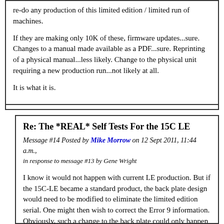re-do any production of this limited edition / limited run of machines.

If they are making only 10K of these, firmware updates...sure. Changes to a manual made available as a PDF...sure. Reprinting of a physical manual...less likely. Change to the physical unit requiring a new production run...not likely at all.

It is what it is.
Re: The *REAL* Self Tests For the 15C LE
Message #14 Posted by Mike Morrow on 12 Sept 2011, 11:44 a.m., in response to message #13 by Gene Wright
I know it would not happen with current LE production. But if the 15C-LE became a standard product, the back plate design would need to be modified to eliminate the limited edition serial. One might then wish to correct the Error 9 information. Obviously, such a change to the back plate could only happen if 15C-LE production became a recurring event. I doubt that general